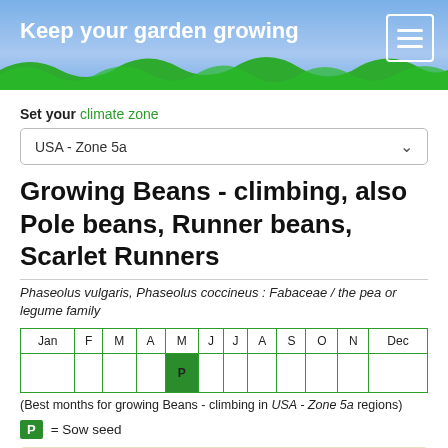Keep your garden growing
Set your climate zone
USA - Zone 5a
Growing Beans - climbing, also Pole beans, Runner beans, Scarlet Runners
Phaseolus vulgaris, Phaseolus coccineus : Fabaceae / the pea or legume family
| Jan | F | M | A | M | J | J | A | S | O | N | Dec |
| --- | --- | --- | --- | --- | --- | --- | --- | --- | --- | --- | --- |
|  |  |  |  | P |  |  |  |  |  |  |  |
(Best months for growing Beans - climbing in USA - Zone 5a regions)
P = Sow seed
Easy to grow. Sow in garden. Sow seed at a depth approximately three times the diameter of the seed. Best